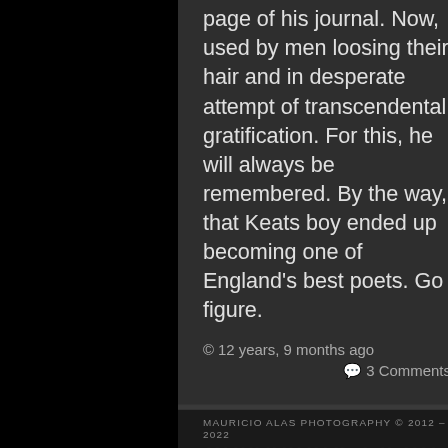page of his journal. Now, used by men loosing their hair and in desperate attempt of transcendental gratification. For this, he will always be remembered. By the way, that Keats boy ended up becoming one of England's best poets. Go figure.
© 12 years, 9 months ago
💬 3 Comments
Adventures Of An Organizer (Part III)
MAURICIO ALAS PHOTOGRAPHY © 2012 – 2022